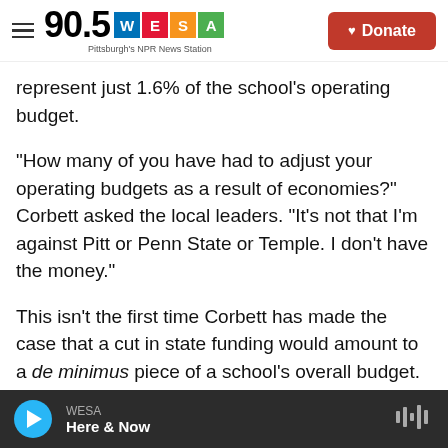90.5 WESA — Pittsburgh's NPR News Station | Donate
represent just 1.6% of the school's operating budget.
"How many of you have had to adjust your operating budgets as a result of economies?" Corbett asked the local leaders. "It's not that I'm against Pitt or Penn State or Temple. I don't have the money."
This isn't the first time Corbett has made the case that a cut in state funding would amount to a de minimus piece of a school's overall budget.
What's changed is the state's latest tax revenue
WESA — Here & Now